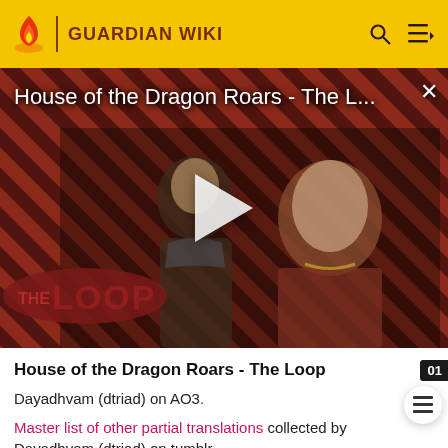GUARDIAN WIKI
[Figure (screenshot): Video thumbnail for 'House of the Dragon Roars - The Loop' showing two characters from the show against a diagonal red/dark striped background with 'THE LOOP' text overlay and a play button in the center]
House of the Dragon Roars - The Loop
Dayadhvam (dtriad) on AO3.
Master list of other partial translations collected by Dayadhvam (dtriad) on tumblr.